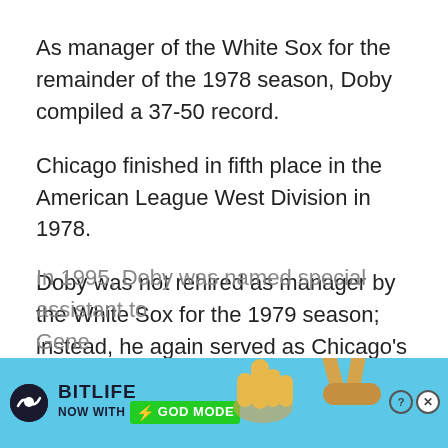As manager of the White Sox for the remainder of the 1978 season, Doby compiled a 37-50 record.
Chicago finished in fifth place in the American League West Division in 1978.
Doby was not rehired as manager by the White Sox for the 1979 season; instead, he again served as Chicago's batting coach for the 1979 season.
In 1995, Doby was named special assistant to Gene
[Figure (screenshot): BitLife advertisement banner with teal background, showing BitLife logo, 'NOW WITH GOD MODE' text, hand pointing gesture graphics, and close/question mark buttons.]